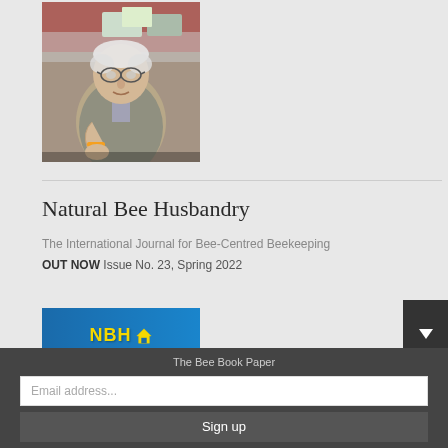[Figure (photo): Elderly man with glasses in a tweed jacket, seated at a table, gesturing with his hand, with items on the table behind him.]
Natural Bee Husbandry
The International Journal for Bee-Centred Beekeeping
OUT NOW Issue No. 23, Spring 2022
[Figure (logo): NBH logo with yellow text on blue background with a house icon]
The Bee Book Paper
Email address...
Sign up